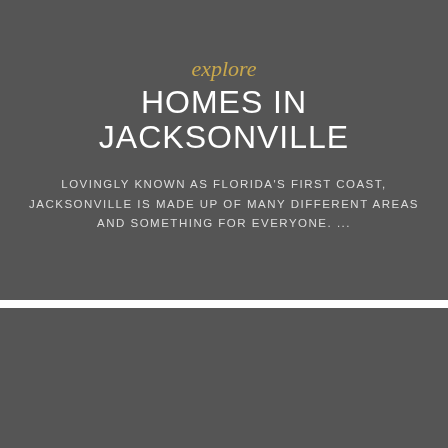explore HOMES IN JACKSONVILLE
LOVINGLY KNOWN AS FLORIDA'S FIRST COAST, JACKSONVILLE IS MADE UP OF MANY DIFFERENT AREAS AND SOMETHING FOR EVERYONE. ...
[Figure (other): Dark gray panel section at the bottom of the page]